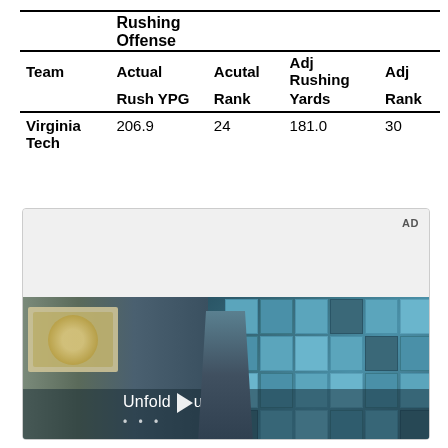| Team | Actual Rush YPG | Acutal Rank | Adj Rushing Yards | Adj Rank |
| --- | --- | --- | --- | --- |
| Virginia Tech | 206.9 | 24 | 181.0 | 30 |
[Figure (photo): Advertisement showing a young man in a denim jacket standing in what appears to be a restaurant or store with blue tiled walls. Text reads 'Unfold your world' with a play button icon. AD label visible in top right corner.]